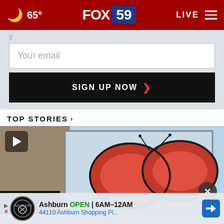FOX 59  65°  LIVE
Your email
SIGN UP NOW ›
TOP STORIES ›
[Figure (photo): Video thumbnail showing a butterfly mural/billboard on a building with a play button overlay]
Ashburn  OPEN  6AM–12AM  44110 Ashburn Shopping Pl...